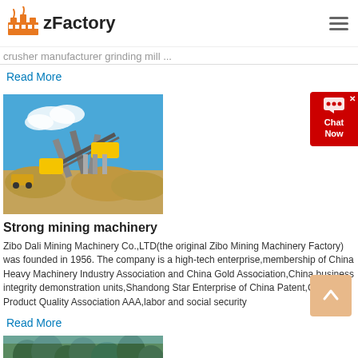zFactory
crusher manufacturer grinding mill ...
Read More
[Figure (photo): Outdoor mining/crushing plant facility with conveyor belts, machinery, and sand/gravel piles under a blue sky]
Strong mining machinery
Zibo Dali Mining Machinery Co.,LTD(the original Zibo Mining Machinery Factory) was founded in 1956. The company is a high-tech enterprise,membership of China Heavy Machinery Industry Association and China Gold Association,China business integrity demonstration units,Shandong Star Enterprise of China Patent,China Product Quality Association AAA,labor and social security
Read More
[Figure (photo): Partial view of another mining machinery or landscape image at the bottom of the page]